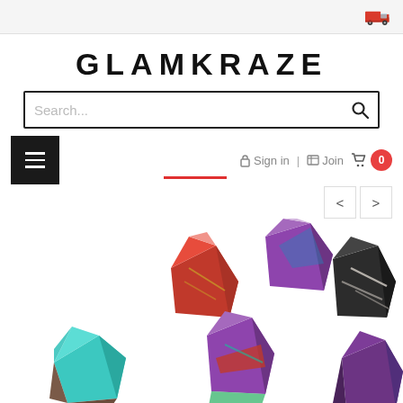Top navigation bar with truck/delivery icon
GLAMKRAZE
Search...
Sign in | Join cart 0
[Figure (photo): Colorful rough gemstone crystals including red, teal, purple-blue, black, and purple stones on a white background]